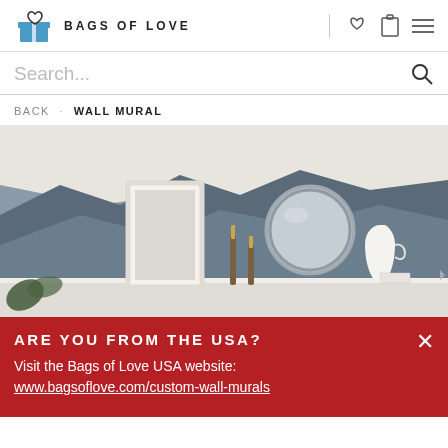BAGS OF LOVE
Search...
BACK · WALL MURAL
[Figure (photo): Room interior with a mountain landscape wall mural, featuring a round mirror, white door frame, candle holders, and a white pitcher on a shelf]
ARE YOU FROM THE USA?
Visit the Bags of Love USA website:
www.bagsoflove.com/custom-wall-murals